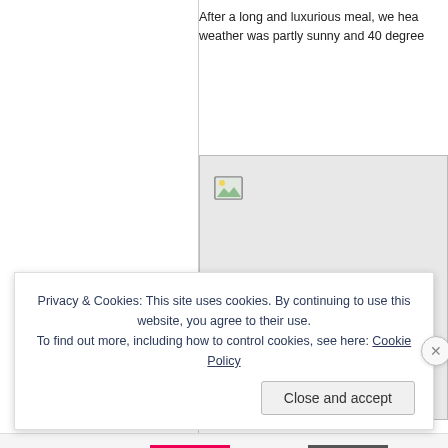After a long and luxurious meal, we head... weather was partly sunny and 40 degree...
[Figure (photo): Broken/missing image placeholder in a light gray box with image icon in top-left corner]
Privacy & Cookies: This site uses cookies. By continuing to use this website, you agree to their use. To find out more, including how to control cookies, see here: Cookie Policy
Close and accept